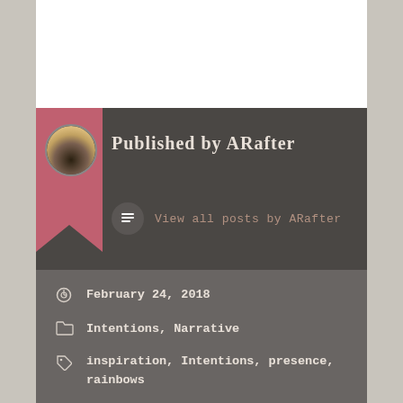Published by ARafter
View all posts by ARafter
February 24, 2018
Intentions, Narrative
inspiration, Intentions, presence, rainbows
Previous Post
Fill Your Own Cup